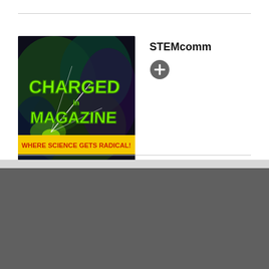[Figure (illustration): Charged Magazine cover art with green graffiti-style text reading CHARGED MAGAZINE on dark background with lightning effects, subtitle banner 'WHERE SCIENCE GETS RADICAL!']
STEMcomm
[Figure (other): Gray circular plus/add button icon]
[Figure (map): Small Google Maps thumbnail showing a street map location]
Vertically Integrated Projects
366 Ferst Drive NW...